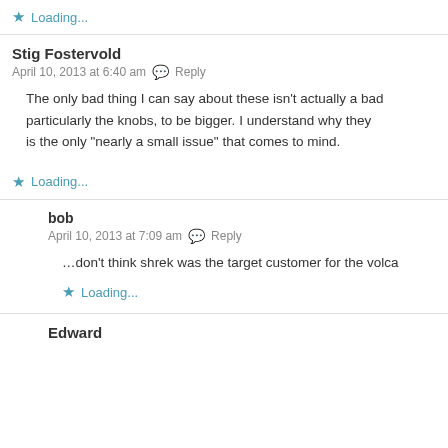★ Loading...
Stig Fostervold
April 10, 2013 at 6:40 am  Reply

The only bad thing I can say about these isn't actually a bad, particularly the knobs, to be bigger. I understand why they is the only "nearly a small issue" that comes to mind.
★ Loading...
bob
April 10, 2013 at 7:09 am  Reply

…don't think shrek was the target customer for the volca
★ Loading...
Edward